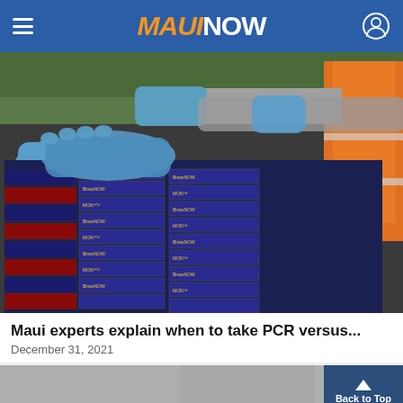MAUI NOW
[Figure (photo): Person wearing blue gloves and orange safety vest distributing stacks of BinaxNOW COVID-19 rapid antigen test boxes at a drive-through distribution event. A cardboard box with Maui Now logo is visible on the right side.]
Maui experts explain when to take PCR versus...
December 31, 2021
[Figure (photo): Partial view of another article photo, partially visible at bottom of screen]
Back to Top